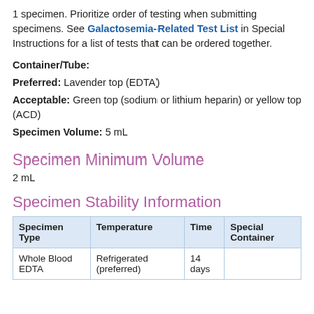1 specimen. Prioritize order of testing when submitting specimens. See Galactosemia-Related Test List in Special Instructions for a list of tests that can be ordered together.
Container/Tube:
Preferred: Lavender top (EDTA)
Acceptable: Green top (sodium or lithium heparin) or yellow top (ACD)
Specimen Volume: 5 mL
Specimen Minimum Volume
2 mL
Specimen Stability Information
| Specimen Type | Temperature | Time | Special Container |
| --- | --- | --- | --- |
| Whole Blood EDTA | Refrigerated (preferred) | 14 days |  |